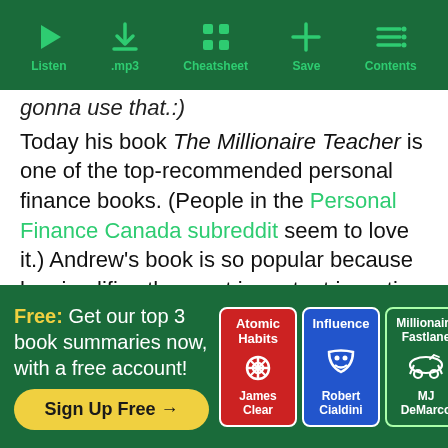Listen | .mp3 | Cheatsheet | Save | Contents
gonna use that.:)
Today his book The Millionaire Teacher is one of the top-recommended personal finance books. (People in the Personal Finance Canada subreddit seem to love it.) Andrew's book is so popular because he simplifies the most important investing ideas for us, while also diving into enough details to be practical.
[Figure (infographic): Banner ad with text: Free: Get our top 3 book summaries now, with a free account! Sign Up Free → with book covers for Atomic Habits (James Clear), Influence (Robert Cialdini), and Millionaire Fastlane (MJ DeMarco)]